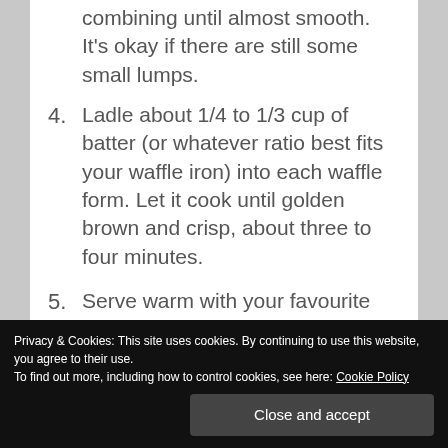combining until almost smooth. It's okay if there are still some small lumps.
4. Ladle about 1/4 to 1/3 cup of batter (or whatever ratio best fits your waffle iron) into each waffle form. Let it cook until golden brown and crisp, about three to four minutes.
5. Serve warm with your favourite toppings, or freeze for later use.
Privacy & Cookies: This site uses cookies. By continuing to use this website, you agree to their use.
To find out more, including how to control cookies, see here: Cookie Policy